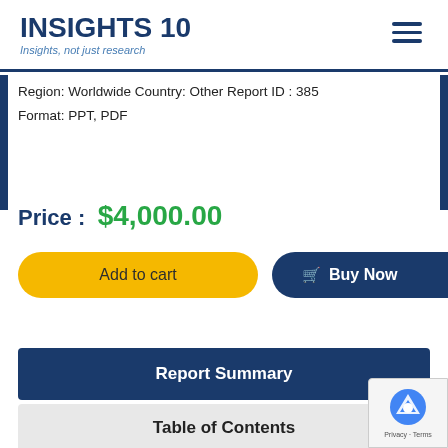INSIGHTS 10 — Insights, not just research
Region: Worldwide Country: Other Report ID : 385
Format: PPT, PDF
Price : $4,000.00
Add to cart
Buy Now
Report Summary
Table of Contents